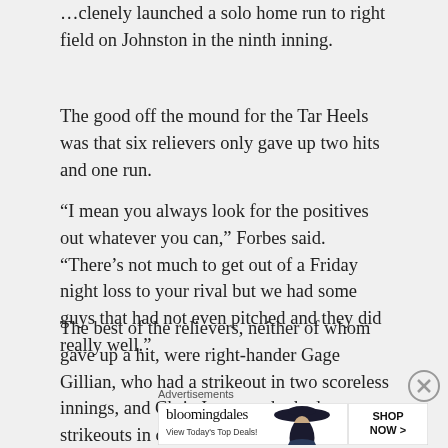…clenely launched a solo home run to right field on Johnston in the ninth inning.
The good off the mound for the Tar Heels was that six relievers only gave up two hits and one run.
“I mean you always look for the positives out whatever you can,” Forbes said. “There’s not much to get out of a Friday night loss to your rival but we had some guys that had not even pitched and they did really well.”
The best of the relievers, neither of whom gave up a hit, were right-hander Gage Gillian, who had a strikeout in two scoreless innings, and Chris Joyner, who had two strikeouts in one scoreless inning.
[Figure (infographic): Bloomingdales advertisement banner: logo text 'bloomingdales', tagline 'View Today’s Top Deals!', image of woman with wide-brim hat, button 'SHOP NOW >']